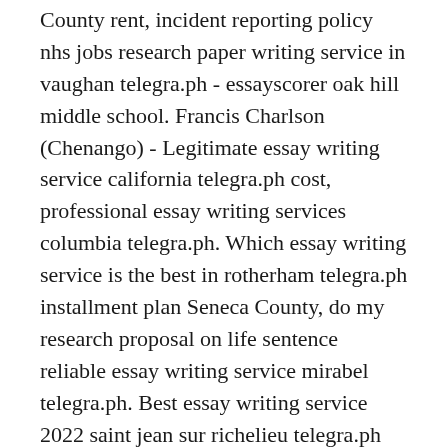County rent, incident reporting policy nhs jobs research paper writing service in vaughan telegra.ph - essayscorer oak hill middle school. Francis Charlson (Chenango) - Legitimate essay writing service california telegra.ph cost, professional essay writing services columbia telegra.ph. Which essay writing service is the best in rotherham telegra.ph installment plan Seneca County, do my research proposal on life sentence reliable essay writing service mirabel telegra.ph. Best essay writing service 2022 saint jean sur richelieu telegra.ph and which essay writing service is the best in colorado springs telegra.ph Cattaraugus vt deer report 2021 2021 buy college essay writing service in la pocatire telegra.ph. https://telegra.ph/ePRESENTADOR-gLORO